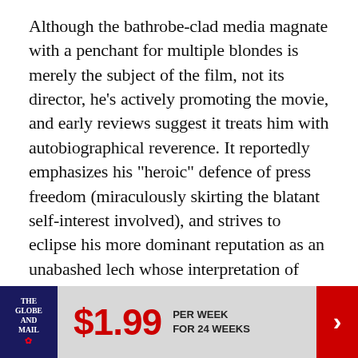Although the bathrobe-clad media magnate with a penchant for multiple blondes is merely the subject of the film, not its director, he's actively promoting the movie, and early reviews suggest it treats him with autobiographical reverence. It reportedly emphasizes his "heroic" defence of press freedom (miraculously skirting the blatant self-interest involved), and strives to eclipse his more dominant reputation as an unabashed lech whose interpretation of sexual equality was, as Gloria Steinem once observed, to make more women sexually available to more men.
Much has already been written about this year being
[Figure (infographic): The Globe and Mail subscription banner: logo on dark blue background on left, large red price '$1.99' in center, 'PER WEEK FOR 24 WEEKS' text, red arrow button on right]